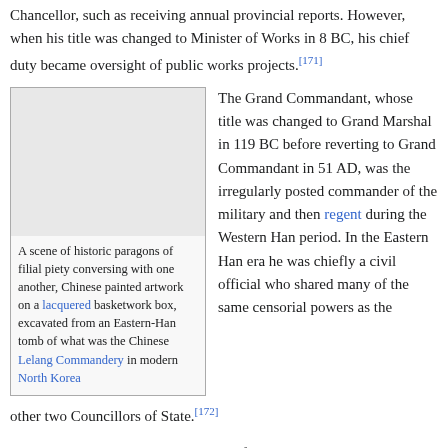Chancellor, such as receiving annual provincial reports. However, when his title was changed to Minister of Works in 8 BC, his chief duty became oversight of public works projects.[171]
[Figure (illustration): A scene of historic paragons of filial piety conversing with one another, Chinese painted artwork on a lacquered basketwork box, excavated from an Eastern-Han tomb of what was the Chinese Lelang Commandery in modern North Korea]
A scene of historic paragons of filial piety conversing with one another, Chinese painted artwork on a lacquered basketwork box, excavated from an Eastern-Han tomb of what was the Chinese Lelang Commandery in modern North Korea
The Grand Commandant, whose title was changed to Grand Marshal in 119 BC before reverting to Grand Commandant in 51 AD, was the irregularly posted commander of the military and then regent during the Western Han period. In the Eastern Han era he was chiefly a civil official who shared many of the same censorial powers as the other two Councillors of State.[172]
Ranked below the Three Councillors of State were the Nine Ministers (Jiu qing 九卿), who each headed a specialized ministry. The